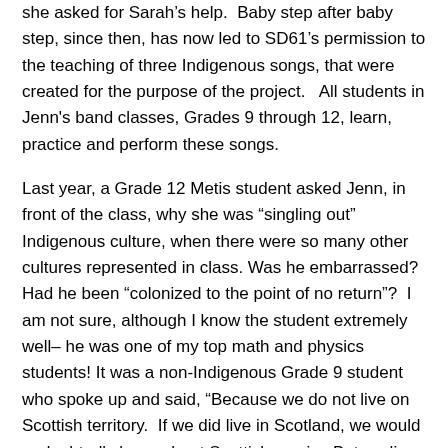she asked for Sarah's help.  Baby step after baby step, since then, has now led to SD61's permission to the teaching of three Indigenous songs, that were created for the purpose of the project.   All students in Jenn's band classes, Grades 9 through 12, learn, practice and perform these songs.
Last year, a Grade 12 Metis student asked Jenn, in front of the class, why she was “singling out” Indigenous culture, when there were so many other cultures represented in class. Was he embarrassed? Had he been “colonized to the point of no return”?  I am not sure, although I know the student extremely well– he was one of my top math and physics students! It was a non-Indigenous Grade 9 student who spoke up and said, “Because we do not live on Scottish territory.  If we did live in Scotland, we would undoubtedly learn about Scottish music.  But we live on Lekwungen territory… that is why.”